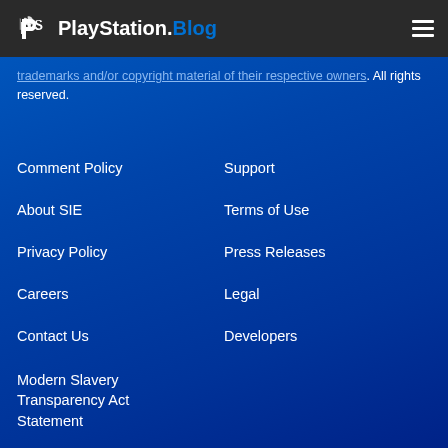PlayStation.Blog
trademarks and/or copyright material of their respective owners. All rights reserved.
Comment Policy
Support
About SIE
Terms of Use
Privacy Policy
Press Releases
Careers
Legal
Contact Us
Developers
Modern Slavery Transparency Act Statement